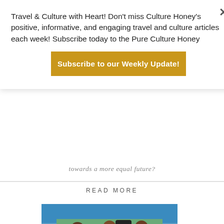Travel & Culture with Heart! Don't miss Culture Honey's positive, informative, and engaging travel and culture articles each week! Subscribe today to the Pure Culture Honey
Subscribe to our Weekly Update!
towards a more equal future?
READ MORE
[Figure (photo): Three women smiling at an outdoor market booth/vendor table under a blue canopy. Two wear white tank tops with a logo, one wears a black shirt. A black t-shirt with text is displayed behind them. Items are on the table in front of them.]